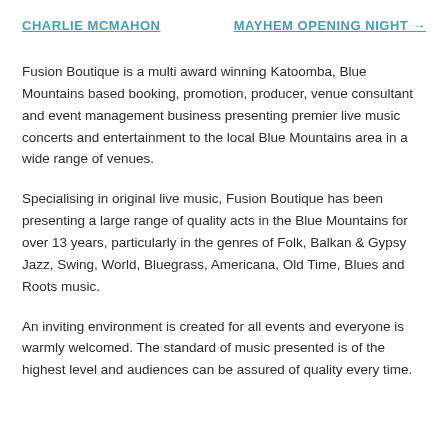CHARLIE MCMAHON    MAYHEM OPENING NIGHT →
Fusion Boutique is a multi award winning Katoomba, Blue Mountains based booking, promotion, producer, venue consultant and event management business presenting premier live music concerts and entertainment to the local Blue Mountains area in a wide range of venues.
Specialising in original live music, Fusion Boutique has been presenting a large range of quality acts in the Blue Mountains for over 13 years, particularly in the genres of Folk, Balkan & Gypsy Jazz, Swing, World, Bluegrass, Americana, Old Time, Blues and Roots music.
An inviting environment is created for all events and everyone is warmly welcomed. The standard of music presented is of the highest level and audiences can be assured of quality every time.